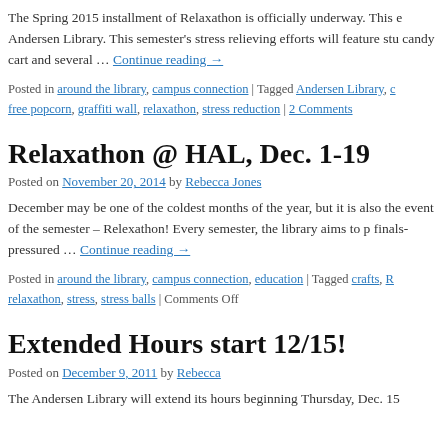The Spring 2015 installment of Relaxathon is officially underway. This e Andersen Library. This semester's stress relieving efforts will feature stu candy cart and several … Continue reading →
Posted in around the library, campus connection | Tagged Andersen Library, free popcorn, graffiti wall, relaxathon, stress reduction | 2 Comments
Relaxathon @ HAL, Dec. 1-19
Posted on November 20, 2014 by Rebecca Jones
December may be one of the coldest months of the year, but it is also the event of the semester – Relexathon! Every semester, the library aims to p finals-pressured … Continue reading →
Posted in around the library, campus connection, education | Tagged crafts, relaxathon, stress, stress balls | Comments Off
Extended Hours start 12/15!
Posted on December 9, 2011 by Rebecca
The Andersen Library will extend its hours beginning Thursday, Dec. 15